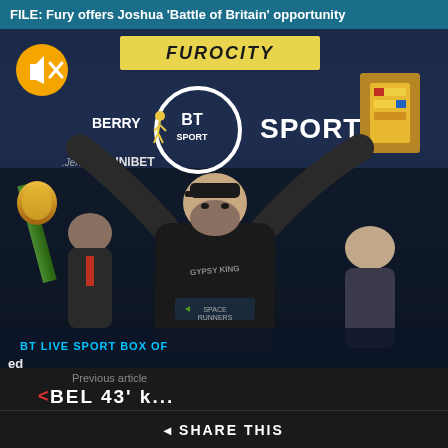FILE: Fury offers Joshua 'Battle of Britain' opportunity
[Figure (photo): Video still of Tyson Fury raising championship belts at a BT Sport event with FUROCITY, UNIBET, BERRY, 32Red sponsor logos visible. A mute button icon is overlaid in the top-left corner.]
Previous article
BEL 43' k...
SHARE THIS